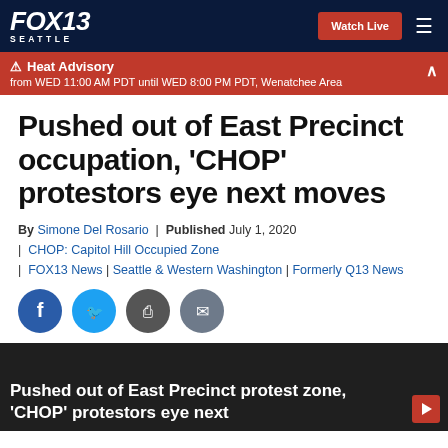FOX13 SEATTLE | Watch Live
Heat Advisory from WED 11:00 AM PDT until WED 8:00 PM PDT, Wenatchee Area
Pushed out of East Precinct occupation, 'CHOP' protestors eye next moves
By Simone Del Rosario | Published July 1, 2020 | CHOP: Capitol Hill Occupied Zone | FOX13 News | Seattle & Western Washington | Formerly Q13 News
[Figure (other): Social sharing icons: Facebook, Twitter, Print, Email]
[Figure (screenshot): Video thumbnail showing 'Pushed out of East Precinct protest zone, CHOP protestors eye next' with dark background]